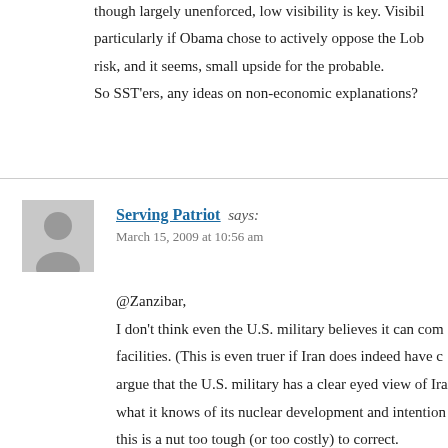though largely unenforced, low visibility is key. Visibility particularly if Obama chose to actively oppose the Lob risk, and it seems, small upside for the probable. So SST'ers, any ideas on non-economic explanations?
@Zanzibar,
Serving Patriot says: March 15, 2009 at 10:56 am
I don't think even the U.S. military believes it can com facilities. (This is even truer if Iran does indeed have c argue that the U.S. military has a clear eyed view of Ira what it knows of its nuclear development and intention this is a nut too tough (or too costly) to correct. Unfortunately for the U.S., unlike 2000, there are far, f vulnerable to Iranian counterattack to undertake the tas facilities. Besides, unless you completely wipe out thos involved with them, you will not end Iran's capability t